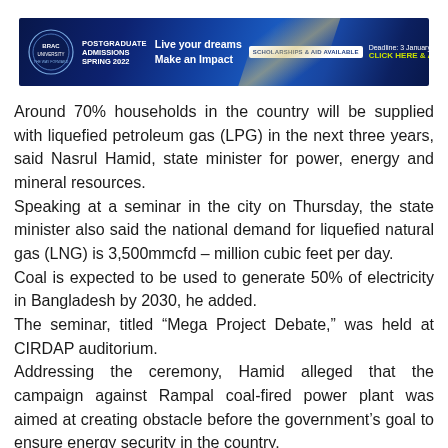[Figure (other): BRAC University advertisement banner for Postgraduate Admissions Spring 2022. Dark blue background with glow effect. Shows BRAC logo, text 'POSTGRADUATE ADMISSIONS SPRING 2022', 'Live your dreams Make an Impact', 'SCHOLARSHIPS & AID AVAILABLE', 'Deadline: 3 January, 2022', 'CLICK HERE & APPLY!']
Around 70% households in the country will be supplied with liquefied petroleum gas (LPG) in the next three years, said Nasrul Hamid, state minister for power, energy and mineral resources.
Speaking at a seminar in the city on Thursday, the state minister also said the national demand for liquefied natural gas (LNG) is 3,500mmcfd – million cubic feet per day.
Coal is expected to be used to generate 50% of electricity in Bangladesh by 2030, he added.
The seminar, titled “Mega Project Debate,” was held at CIRDAP auditorium.
Addressing the ceremony, Hamid alleged that the campaign against Rampal coal-fired power plant was aimed at creating obstacle before the government's goal to ensure energy security in the country.
“The campaign has a political motive designed by the